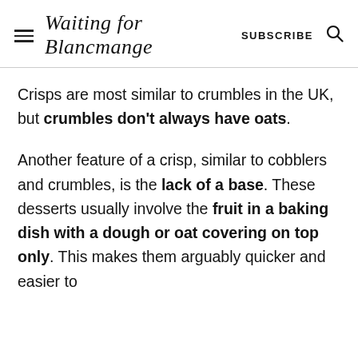Waiting for Blancmange | SUBSCRIBE
Crisps are most similar to crumbles in the UK, but crumbles don't always have oats.
Another feature of a crisp, similar to cobblers and crumbles, is the lack of a base. These desserts usually involve the fruit in a baking dish with a dough or oat covering on top only. This makes them arguably quicker and easier to